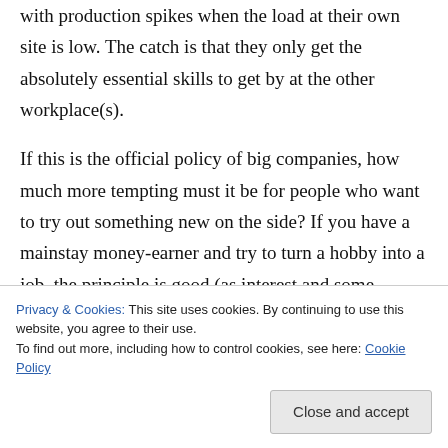with production spikes when the load at their own site is low. The catch is that they only get the absolutely essential skills to get by at the other workplace(s).
If this is the official policy of big companies, how much more tempting must it be for people who want to try out something new on the side? If you have a mainstay money-earner and try to turn a hobby into a job, the principle is good (as interest and some knowledge are there), but for some it may be difficult to realise that now they
Privacy & Cookies: This site uses cookies. By continuing to use this website, you agree to their use.
To find out more, including how to control cookies, see here: Cookie Policy
Close and accept